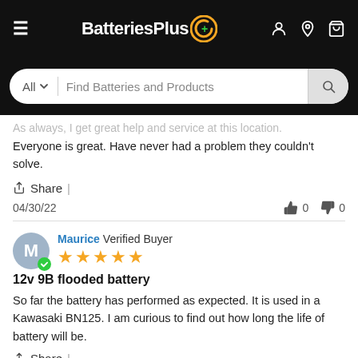BatteriesPlus
As always, I get great help and service at this location. Everyone is great. Have never had a problem they couldn't solve.
Share |
04/30/22   👍 0   👎 0
Maurice  Verified Buyer
★★★★★
12v 9B flooded battery
So far the battery has performed as expected. It is used in a Kawasaki BN125. I am curious to find out how long the life of battery will be.
Share |